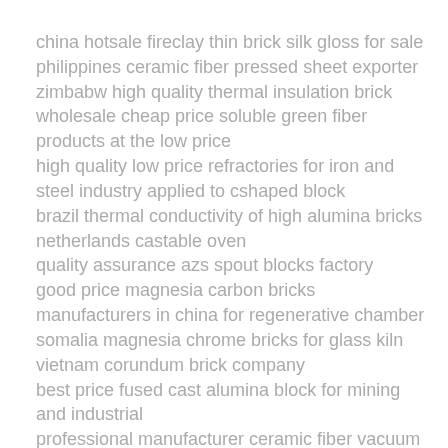china hotsale fireclay thin brick silk gloss for sale
philippines ceramic fiber pressed sheet exporter
zimbabw high quality thermal insulation brick
wholesale cheap price soluble green fiber products at the low price
high quality low price refractories for iron and steel industry applied to cshaped block
brazil thermal conductivity of high alumina bricks netherlands castable oven
quality assurance azs spout blocks factory
good price magnesia carbon bricks manufacturers in china for regenerative chamber
somalia magnesia chrome bricks for glass kiln
vietnam corundum brick company
best price fused cast alumina block for mining and industrial
professional manufacturer ceramic fiber vacuum formed shapes used to build warehouses
fire clay insulation castable for electric power in stock
professional manufacturer magnesia brick at best price